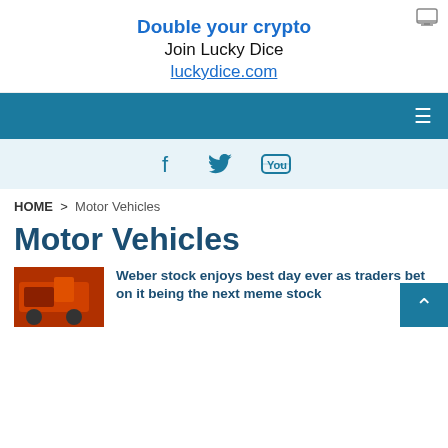[Figure (screenshot): Advertisement banner with icon, bold blue headline 'Double your crypto', subtext 'Join Lucky Dice', and link 'luckydice.com']
Double your crypto
Join Lucky Dice
luckydice.com
[Figure (screenshot): Dark teal navigation bar with hamburger menu icon on the right]
[Figure (screenshot): Light blue social bar with Facebook, Twitter, and YouTube icons]
HOME > Motor Vehicles
Motor Vehicles
Weber stock enjoys best day ever as traders bet on it being the next meme stock